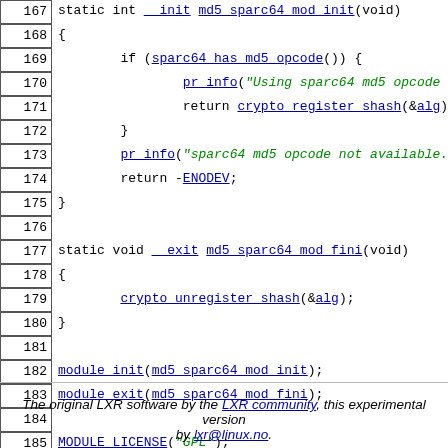[Figure (screenshot): Source code viewer showing lines 167-191 of a Linux kernel C source file (md5 sparc64 module), with line numbers on the left and syntax-highlighted code on the right. Links in blue, strings in green italic.]
The original LXR software by the LXR community, this experimental version by lxr@linux.no.